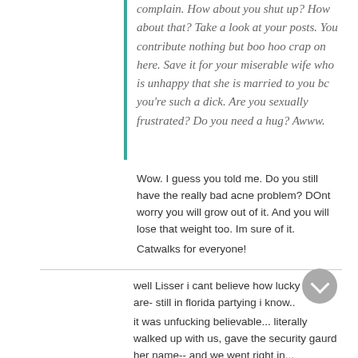complain. How about you shut up? How about that? Take a look at your posts. You contribute nothing but boo hoo crap on here. Save it for your miserable wife who is unhappy that she is married to you bc you're such a dick. Are you sexually frustrated? Do you need a hug? Awww.
Wow. I guess you told me. Do you still have the really bad acne problem? DOnt worry you will grow out of it. And you will lose that weight too. Im sure of it.
Catwalks for everyone!
well Lisser i cant believe how lucky you are- still in florida partying i know..
it was unfucking believable... literally walked up with us, gave the security gaurd her name-- and we went right in...
about shit in my pants-- they walked us right to the front of the catwalk--
then the beetch gets a copy of the set list--
iron eagle